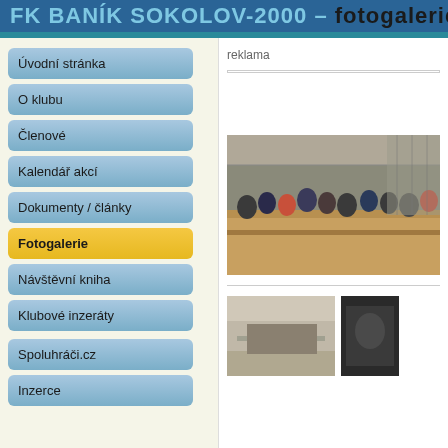FK BANÍK SOKOLOV-2000 – fotogalerie Schw...
Úvodní stránka
O klubu
Členové
Kalendář akcí
Dokumenty / články
Fotogalerie
Návštěvní kniha
Klubové inzeráty
Spoluhráči.cz
Inzerce
reklama
[Figure (photo): Group of people sitting on bleachers/stands inside a sports hall]
[Figure (photo): Indoor sports hall photo, small thumbnail]
[Figure (photo): Dark indoor photo, small thumbnail]